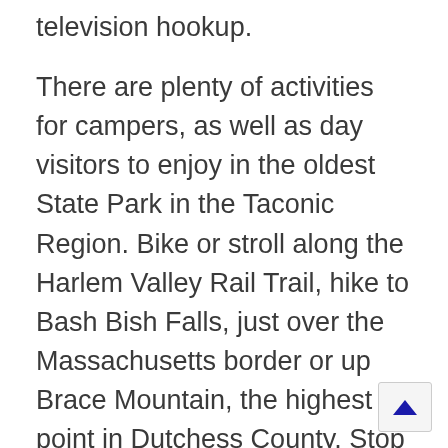television hookup.
There are plenty of activities for campers, as well as day visitors to enjoy in the oldest State Park in the Taconic Region. Bike or stroll along the Harlem Valley Rail Trail, hike to Bash Bish Falls, just over the Massachusetts border or up Brace Mountain, the highest point in Dutchess County. Stop at the newly created Copake Iron Works Museum to learn about the iron industry at the former site of Copake Iron Works, established in 1845. Copake Falls offers swimming opportunities at a designated swimming area with a dock in Ore Pit Pond and at the adjacent kiddie pool. The small but deep Ore Pit Pond is a popular